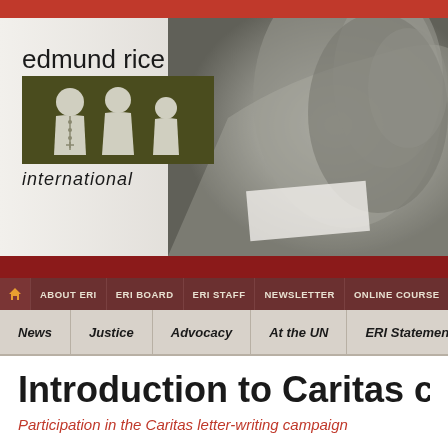[Figure (screenshot): Edmund Rice International website screenshot showing logo with three figures on dark green background, hand writing image on right, navigation bars with ABOUT ERI, ERI BOARD, ERI STAFF, NEWSLETTER, ONLINE COURSE, and secondary navigation with News, Justice, Advocacy, At the UN, ERI Statements]
Introduction to Caritas cam
Participation in the Caritas letter-writing campaign